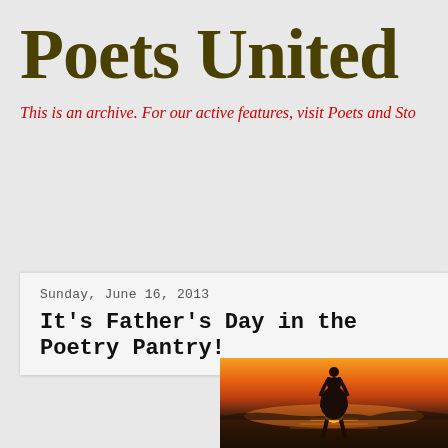Poets United
This is an archive. For our active features, visit Poets and Sto
Sunday, June 16, 2013
It's Father's Day in the Poetry Pantry!
[Figure (photo): Silhouette of a father with a child on his shoulders against a sunset over water]